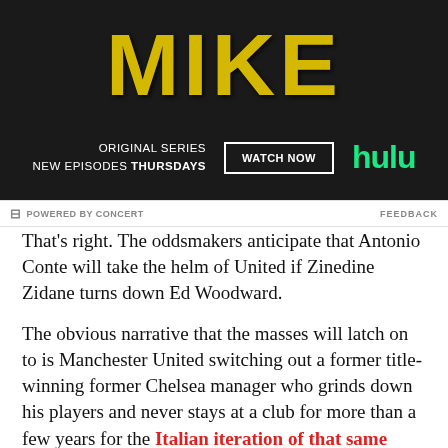[Figure (photo): Hulu advertisement for original series MIKE, showing yellow distressed title text on dark background with 'ORIGINAL SERIES NEW EPISODES THURSDAYS' text, a WATCH NOW button, and the green Hulu logo]
POWERED BY CONCERT   FEEDBACK
That's right. The oddsmakers anticipate that Antonio Conte will take the helm of United if Zinedine Zidane turns down Ed Woodward.
The obvious narrative that the masses will latch on to is Manchester United switching out a former title-winning former Chelsea manager who grinds down his players and never stays at a club for more than a few years for the Italian iteration of that same manager.
Yikes.